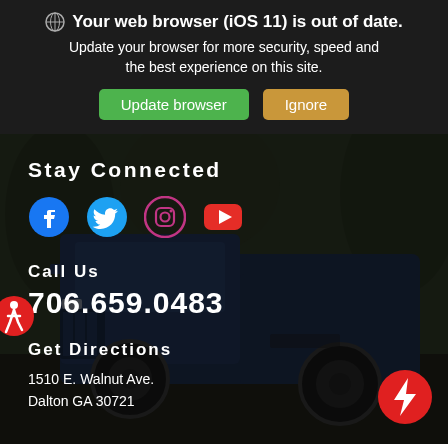Your web browser (iOS 11) is out of date.
Update your browser for more security, speed and the best experience on this site.
Update browser | Ignore
Stay Connected
[Figure (infographic): Social media icons: Facebook, Twitter, Instagram, YouTube]
Call Us
706.659.0483
Get Directions
1510 E. Walnut Ave.
Dalton GA 30721
[Figure (photo): Dark blue Toyota Tundra truck parked in a forested area, used as hero background image]